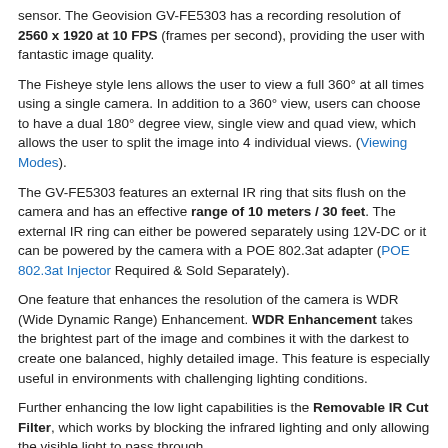sensor. The Geovision GV-FE5303 has a recording resolution of 2560 x 1920 at 10 FPS (frames per second), providing the user with fantastic image quality.
The Fisheye style lens allows the user to view a full 360° at all times using a single camera. In addition to a 360° view, users can choose to have a dual 180° degree view, single view and quad view, which allows the user to split the image into 4 individual views. (Viewing Modes).
The GV-FE5303 features an external IR ring that sits flush on the camera and has an effective range of 10 meters / 30 feet. The external IR ring can either be powered separately using 12V-DC or it can be powered by the camera with a POE 802.3at adapter (POE 802.3at Injector Required & Sold Separately).
One feature that enhances the resolution of the camera is WDR (Wide Dynamic Range) Enhancement. WDR Enhancement takes the brightest part of the image and combines it with the darkest to create one balanced, highly detailed image. This feature is especially useful in environments with challenging lighting conditions.
Further enhancing the low light capabilities is the Removable IR Cut Filter, which works by blocking the infrared lighting and only allowing the visible light to pass through.
Two way audio is supported with a built-in speaker and microphone, allowing the user to fully interact with the camera's environment. Local recording is made possible by using the built-in Micro SD / SDHC card slot (supports class 6 and above cards).